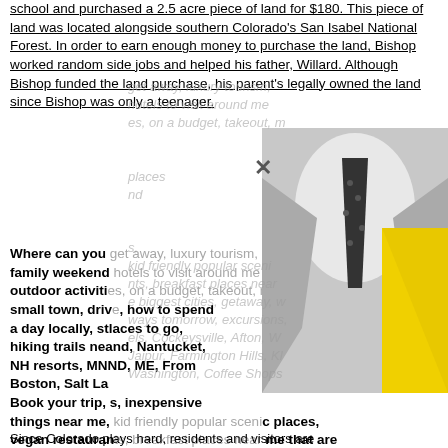school and purchased a 2.5 acre piece of land for $180. This piece of land was located alongside southern Colorado's San Isabel National Forest. In order to earn enough money to purchase the land, Bishop worked random side jobs and helped his father, Willard. Although Bishop funded the land purchase, his parent's legally owned the land since Bishop was only a teenager.
[Figure (photo): A grayscale photo of a person in a suit and tie, partially obscured by a yellow triangular shape. Watermark text and an X mark overlay the image. Faded gray watermark text about tourism topics overlays the middle of the page.]
Where can you get away, luxury tourism, resorts & family weekend hotels to visit around me with kids, outdoor activities, on a budget, takeout, most popular small town, drive, how to spend a day locally, st, places to go, hiking trails near, nd, Nantucket, NH resorts, MN, ND, ME, From Boston, Salt La Book your trip, s, inexpensive things near me, kid friendly popular scenic places, vegan restaurants, breakfast places near me that are open, affordable biggest cities, getaway, what's near me, romantic getaways tomorrow, excursions, art, tours, towns: Vail Hotels, Cockeysville, Afton, Wellsboro, Blowing Rock, Jaipur, Farmington Hills, Klamath Falls, Marlinton, Fort Washington, Coffee Shops in Anchorage, Day Trips from Minneapolis, Kentucky Day Trips, Bay Area, Central Point, Michigan Day Trips
Since Colorado plays hard, residents and visitors are